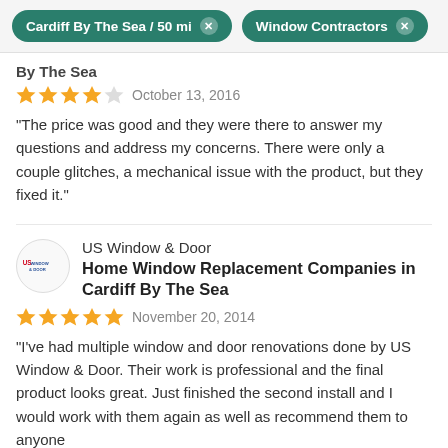Cardiff By The Sea / 50 mi   Window Contractors
By The Sea
★★★★☆   October 13, 2016
“The price was good and they were there to answer my questions and address my concerns. There were only a couple glitches, a mechanical issue with the product, but they fixed it.”
US Window & Door
Home Window Replacement Companies in Cardiff By The Sea
★★★★★   November 20, 2014
“I’ve had multiple window and door renovations done by US Window & Door. Their work is professional and the final product looks great. Just finished the second install and I would work with them again as well as recommend them to anyone